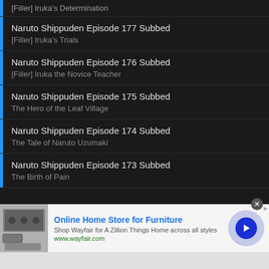[Filler] Iruka's Determination
Naruto Shippuden Episode 177 Subbed
[Filler] Iruka's Trials
Naruto Shippuden Episode 176 Subbed
[Filler] Iruka the Novice Teacher
Naruto Shippuden Episode 175 Subbed
The Hero of the Leaf Village
Naruto Shippuden Episode 174 Subbed
The Tale of Naruto Uzumaki
Naruto Shippuden Episode 173 Subbed
The Birth of Pain
[Figure (screenshot): Advertisement banner for Wayfair Online Home Store for Furniture with image of furniture/appliances, text 'Online Home Store for Furniture', 'Shop Wayfair for A Zillion Things Home across all styles', 'www.wayfair.com', and a blue arrow button. Close X button visible.]